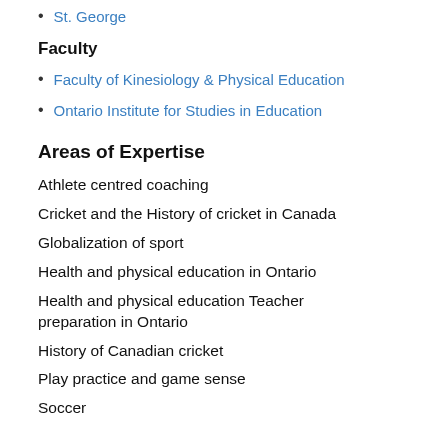St. George
Faculty
Faculty of Kinesiology & Physical Education
Ontario Institute for Studies in Education
Areas of Expertise
Athlete centred coaching
Cricket and the History of cricket in Canada
Globalization of sport
Health and physical education in Ontario
Health and physical education Teacher preparation in Ontario
History of Canadian cricket
Play practice and game sense
Soccer